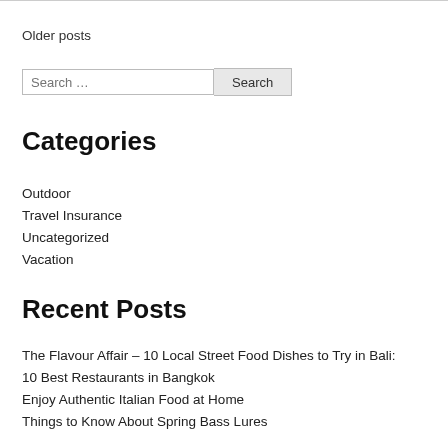Older posts
Search …
Categories
Outdoor
Travel Insurance
Uncategorized
Vacation
Recent Posts
The Flavour Affair – 10 Local Street Food Dishes to Try in Bali:
10 Best Restaurants in Bangkok
Enjoy Authentic Italian Food at Home
Things to Know About Spring Bass Lures